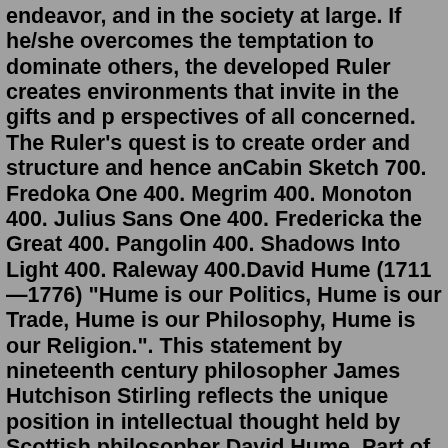endeavor, and in the society at large. If he/she overcomes the temptation to dominate others, the developed Ruler creates environments that invite in the gifts and p erspectives of all concerned. The Ruler's quest is to create order and structure and hence anCabin Sketch 700. Fredoka One 400. Megrim 400. Monoton 400. Julius Sans One 400. Fredericka the Great 400. Pangolin 400. Shadows Into Light 400. Raleway 400.David Hume (1711—1776) "Hume is our Politics, Hume is our Trade, Hume is our Philosophy, Hume is our Religion.". This statement by nineteenth century philosopher James Hutchison Stirling reflects the unique position in intellectual thought held by Scottish philosopher David Hume. Part of Hume's fame and importance owes to his boldly ...Best Bloodhunt archetypes tier list. At time of writing, our tier list would tentatively rank the best Bloodhunt archetypes and classes in this order: Brute (Brujah) Enforcer (Ventrue) Saboteur ...Jul 06, 2022 · Some digital creators are wary about losing creative control on projects as they seek to transition into film and TV.